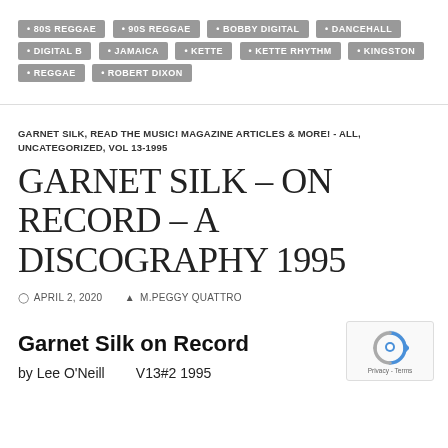80S REGGAE
90S REGGAE
BOBBY DIGITAL
DANCEHALL
DIGITAL B
JAMAICA
KETTE
KETTE RHYTHM
KINGSTON
REGGAE
ROBERT DIXON
GARNET SILK, READ THE MUSIC! MAGAZINE ARTICLES & MORE! - ALL, UNCATEGORIZED, VOL 13-1995
GARNET SILK – ON RECORD – A DISCOGRAPHY 1995
APRIL 2, 2020   M.PEGGY QUATTRO
Garnet Silk on Record
by Lee O'Neill         V13#2 1995